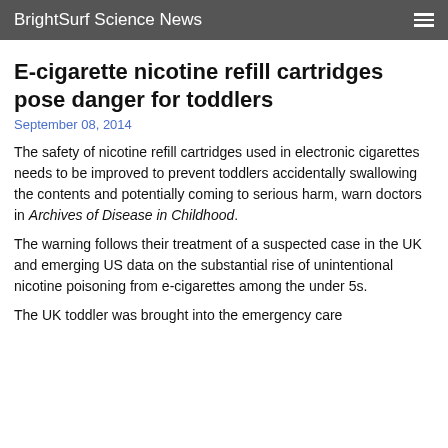BrightSurf Science News
E-cigarette nicotine refill cartridges pose danger for toddlers
September 08, 2014
The safety of nicotine refill cartridges used in electronic cigarettes needs to be improved to prevent toddlers accidentally swallowing the contents and potentially coming to serious harm, warn doctors in Archives of Disease in Childhood.
The warning follows their treatment of a suspected case in the UK and emerging US data on the substantial rise of unintentional nicotine poisoning from e-cigarettes among the under 5s.
The UK toddler was brought into the emergency care